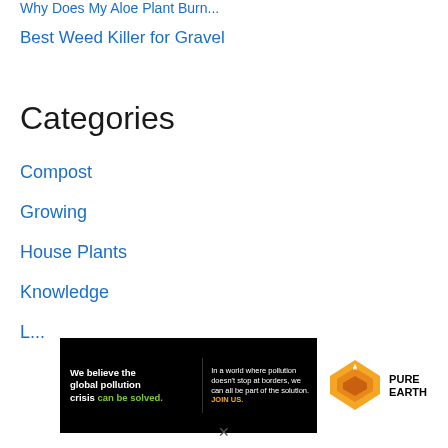Why Does My Aloe Plant Burn...
Best Weed Killer for Gravel
Categories
Compost
Growing
House Plants
Knowledge
Lawns
[Figure (infographic): Pure Earth advertisement banner: black background with text 'We believe the global pollution crisis can be solved.' and 'In a world where pollution doesn't stop at borders, we can all be part of the solution. JOIN US.' with Pure Earth logo on the right side.]